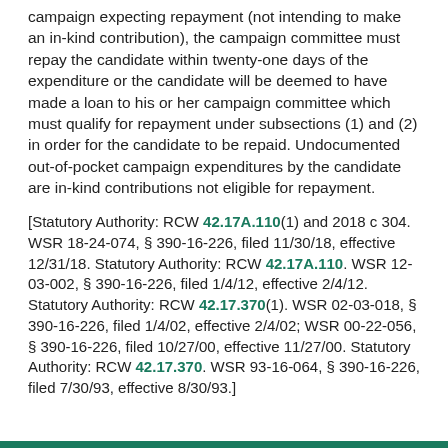campaign expecting repayment (not intending to make an in-kind contribution), the campaign committee must repay the candidate within twenty-one days of the expenditure or the candidate will be deemed to have made a loan to his or her campaign committee which must qualify for repayment under subsections (1) and (2) in order for the candidate to be repaid. Undocumented out-of-pocket campaign expenditures by the candidate are in-kind contributions not eligible for repayment.
[Statutory Authority: RCW 42.17A.110(1) and 2018 c 304. WSR 18-24-074, § 390-16-226, filed 11/30/18, effective 12/31/18. Statutory Authority: RCW 42.17A.110. WSR 12-03-002, § 390-16-226, filed 1/4/12, effective 2/4/12. Statutory Authority: RCW 42.17.370(1). WSR 02-03-018, § 390-16-226, filed 1/4/02, effective 2/4/02; WSR 00-22-056, § 390-16-226, filed 10/27/00, effective 11/27/00. Statutory Authority: RCW 42.17.370. WSR 93-16-064, § 390-16-226, filed 7/30/93, effective 8/30/93.]